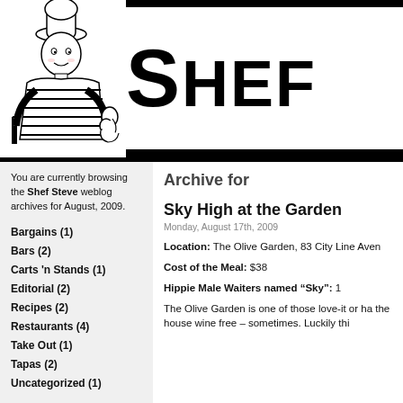[Figure (illustration): Black and white illustration of a chef wearing a tall white chef hat, striped shirt, holding a fork and giving a thumbs up]
SHEF
You are currently browsing the Shef Steve weblog archives for August, 2009.
Archive for
Bargains (1)
Bars (2)
Carts 'n Stands (1)
Editorial (2)
Recipes (2)
Restaurants (4)
Take Out (1)
Tapas (2)
Uncategorized (1)
Sky High at the Garden
Monday, August 17th, 2009
Location: The Olive Garden, 83 City Line Aven
Cost of the Meal: $38
Hippie Male Waiters named “Sky”: 1
The Olive Garden is one of those love-it or ha the house wine free – sometimes. Luckily thi